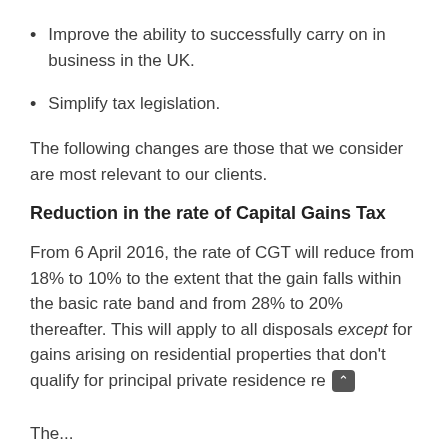Improve the ability to successfully carry on in business in the UK.
Simplify tax legislation.
The following changes are those that we consider are most relevant to our clients.
Reduction in the rate of Capital Gains Tax
From 6 April 2016, the rate of CGT will reduce from 18% to 10% to the extent that the gain falls within the basic rate band and from 28% to 20% thereafter. This will apply to all disposals except for gains arising on residential properties that don't qualify for principal private residence re
The...